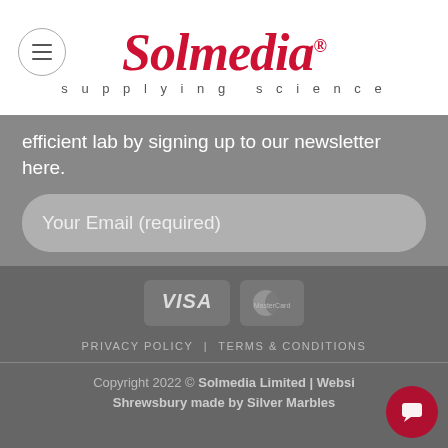[Figure (logo): Solmedia logo with italic red script text and tagline 'supplying science']
efficient lab by signing up to our newsletter here.
Your Email (required)
Sign me up for the newsletter!
SIGN UP
[Figure (other): VISA and MasterCard payment icons]
PRIVACY POLICY   TERMS & CONDITIONS
Copyright 2022 © Solmedia Limited | Website in Shrewsbury made by Silver Marbles